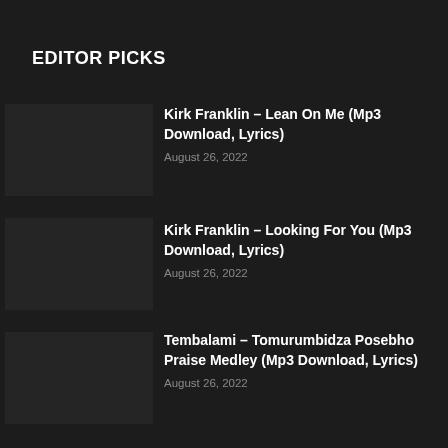EDITOR PICKS
Kirk Franklin – Lean On Me (Mp3 Download, Lyrics)
August 26, 2022
Kirk Franklin – Looking For You (Mp3 Download, Lyrics)
August 26, 2022
Tembalami – Tomurumbidza Posebho Praise Medley (Mp3 Download, Lyrics)
August 26, 2022